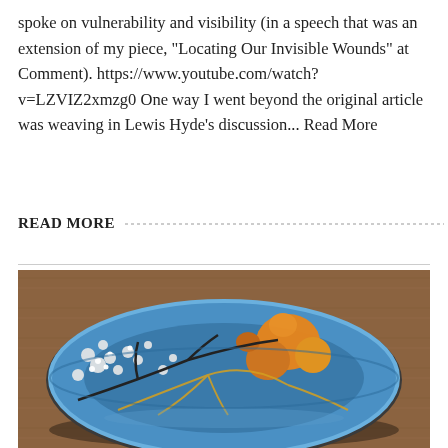spoke on vulnerability and visibility (in a speech that was an extension of my piece, "Locating Our Invisible Wounds" at Comment). https://www.youtube.com/watch?v=LZVIZ2xmzg0 One way I went beyond the original article was weaving in Lewis Hyde's discussion... Read More
READ MORE
[Figure (photo): A decorative ceramic bowl with a blue glaze featuring floral motifs in white and orange/gold, repaired with the Japanese kintsugi technique showing gold seams along the cracks, photographed on a wooden surface.]